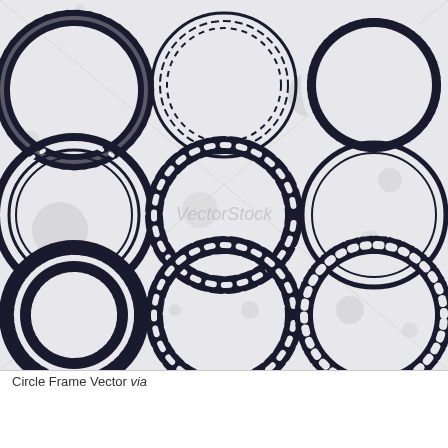[Figure (illustration): Nine decorative circle frame vectors arranged in a 3x3 grid on a light gray speckled background. Row 1: rope/chain border circle (left), dashed double-border circle (center), thick scalloped/gear border circle (right). Row 2: thick double-concentric circle with dots (left), chain-link border circle (center), double-line border circle (right). Row 3: layered scalloped/badge border circle (left), chain-link border circle (center), rounded square chain-link border circle (right). A VectorStock watermark appears in the center. Gray decorative circles of various sizes are scattered in the background.]
Circle Frame Vector via